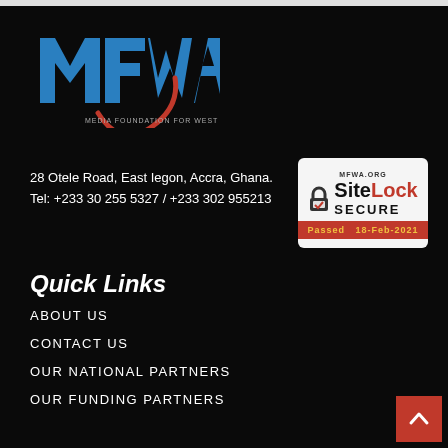[Figure (logo): MFWA - Media Foundation for West Africa logo with blue letter shapes and red swoosh]
28 Otele Road, East Iegon, Accra, Ghana.
Tel: +233 30 255 5327 / +233 302 955213
[Figure (other): SiteLock Secure badge - MFWA.ORG, Passed 18-Feb-2021]
Quick Links
ABOUT US
CONTACT US
OUR NATIONAL PARTNERS
OUR FUNDING PARTNERS